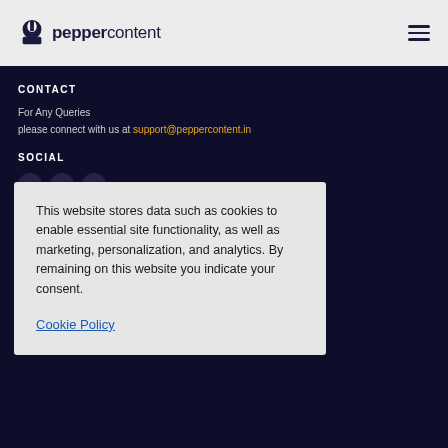peppercontent
CONTACT
For Any Queries
please connect with us at support@peppercontent.in
SOCIAL
This website stores data such as cookies to enable essential site functionality, as well as marketing, personalization, and analytics. By remaining on this website you indicate your consent.
Cookie Policy